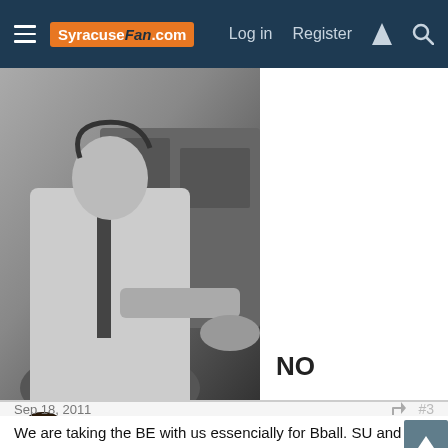SyracuseFan.com  Log in  Register
[Figure (photo): Black and white photo of a man in a suit working at a desk or machine. To the right of the photo, large bold text reads 'NO'.]
jordoo
Living Legend
Sep 18, 2011  #3
We are taking the BE with us essencially for Bball. SU and Pitt make the ACC the premier east coast Bball league. Conn will more than likely be added killing the BE.
OrangeMuskyFish